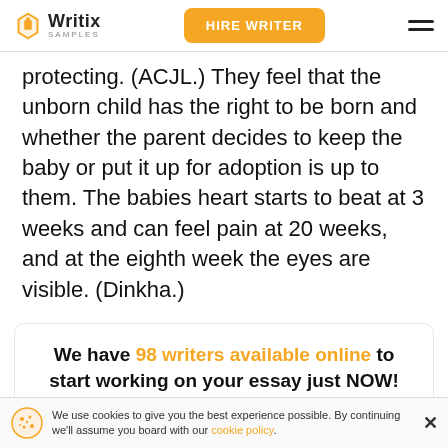Writix SAMPLES | HIRE WRITER
protecting. (ACJL.) They feel that the unborn child has the right to be born and whether the parent decides to keep the baby or put it up for adoption is up to them. The babies heart starts to beat at 3 weeks and can feel pain at 20 weeks, and at the eighth week the eyes are visible. (Dinkha.)
We have 98 writers available online to start working on your essay just NOW!
We use cookies to give you the best experience possible. By continuing we'll assume you board with our cookie policy.